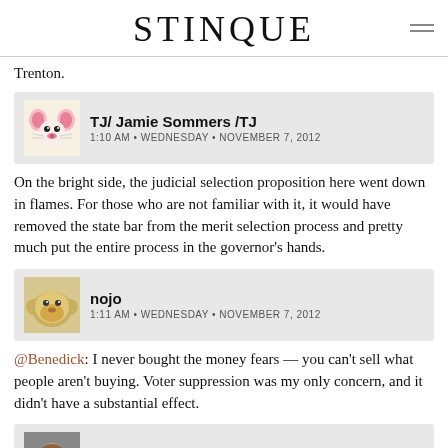STINQUE
Trenton.
TJ/ Jamie Sommers /TJ
1:10 AM • WEDNESDAY • NOVEMBER 7, 2012
On the bright side, the judicial selection proposition here went down in flames. For those who are not familiar with it, it would have removed the state bar from the merit selection process and pretty much put the entire process in the governor's hands.
nojo
1:11 AM • WEDNESDAY • NOVEMBER 7, 2012
@Benedick: I never bought the money fears — you can't sell what people aren't buying. Voter suppression was my only concern, and it didn't have a substantial effect.
SanFranLefty